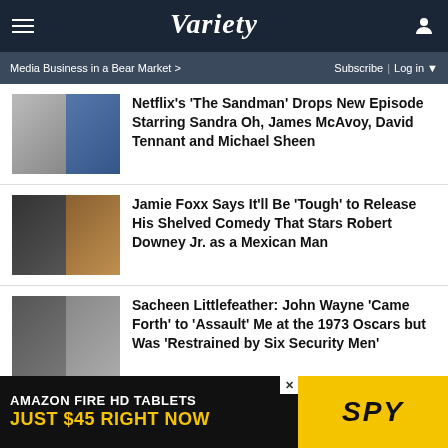VARIETY — Media Business in a Bear Market > | Subscribe | Log in
Netflix's 'The Sandman' Drops New Episode Starring Sandra Oh, James McAvoy, David Tennant and Michael Sheen
Jamie Foxx Says It'll Be 'Tough' to Release His Shelved Comedy That Stars Robert Downey Jr. as a Mexican Man
Sacheen Littlefeather: John Wayne 'Came Forth' to 'Assault' Me at the 1973 Oscars but Was 'Restrained by Six Security Men'
Idris Elba's Daughter Failed to Land 'Beast' Role
[Figure (screenshot): AMAZON FIRE HD TABLETS — JUST $45 RIGHT NOW — SPY advertisement banner]